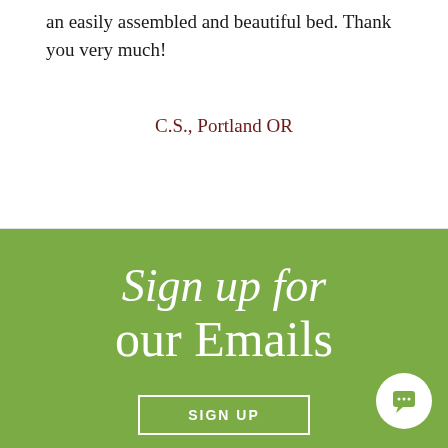an easily assembled and beautiful bed. Thank you very much!
C.S., Portland OR
Sign up for our Emails
SIGN UP